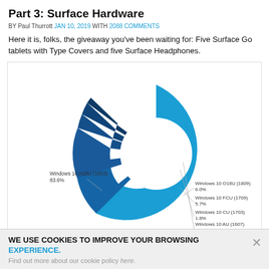Part 3: Surface Hardware
BY Paul Thurrott JAN 10, 2019 WITH 2088 COMMENTS
Here it is, folks, the giveaway you've been waiting for: Five Surface Go tablets with Type Covers and five Surface Headphones.
[Figure (donut-chart): Windows 10 version distribution]
WE USE COOKIES TO IMPROVE YOUR BROWSING EXPERIENCE. Find out more about our cookie policy here.